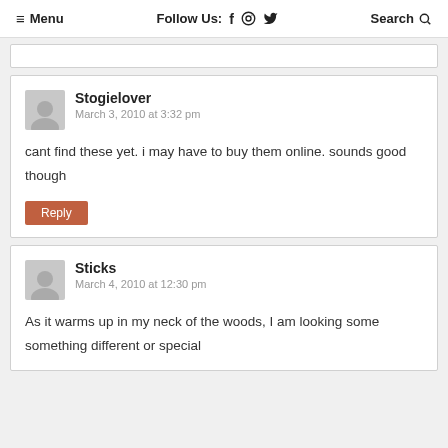≡ Menu   Follow Us: f ⊙ 🐦   Search 🔍
cant find these yet. i may have to buy them online. sounds good though
Stogielover
March 3, 2010 at 3:32 pm
Reply
Sticks
March 4, 2010 at 12:30 pm
As it warms up in my neck of the woods, I am looking some something different or special